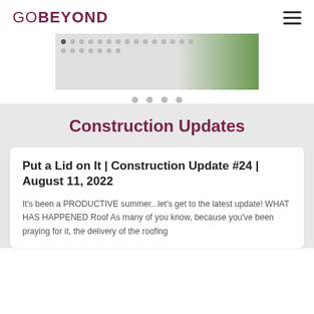GOBEYOND
[Figure (photo): Partial view of a slider/carousel image showing a garden or outdoor scene with green foliage on the right side, and a grid of small dots overlaid on a light gray background.]
Construction Updates
Put a Lid on It | Construction Update #24 | August 11, 2022
It's been a PRODUCTIVE summer...let's get to the latest update! WHAT HAS HAPPENED Roof As many of you know, because you've been praying for it, the delivery of the roofing